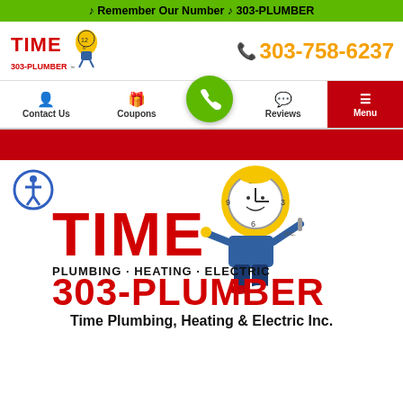♪ Remember Our Number ♪ 303-PLUMBER
[Figure (logo): Time Plumbing Heating Electric 303-PLUMBER logo with running clock mascot — small header version]
303-758-6237
Contact Us
Coupons
Reviews
Menu
[Figure (logo): TIME Plumbing Heating Electric 303-PLUMBER large logo with running clock mascot character]
Time Plumbing, Heating & Electric Inc.